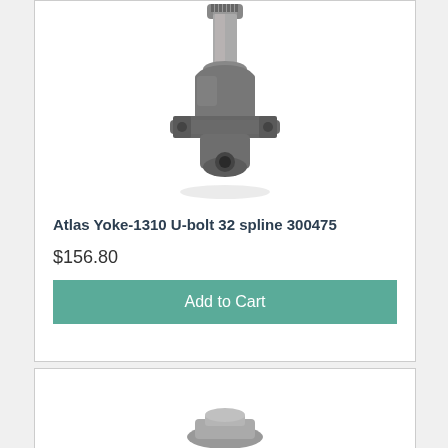[Figure (photo): Atlas Yoke-1310 U-bolt 32 spline part 300475 — a grey cast metal yoke component with splined shaft at top and U-bolt mounting flange at bottom, photographed on white background]
Atlas Yoke-1310 U-bolt 32 spline 300475
$156.80
Add to Cart
[Figure (photo): Partial view of a second product at bottom of page, mostly cropped, showing a grey metal part on white background]